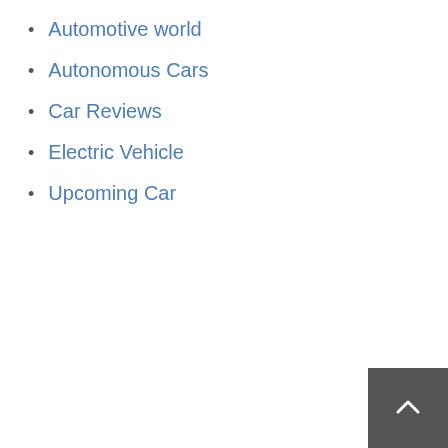Automotive world
Autonomous Cars
Car Reviews
Electric Vehicle
Upcoming Car